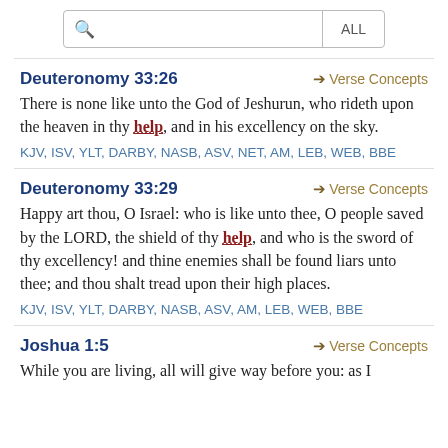Search bar with ALL filter
Deuteronomy 33:26
There is none like unto the God of Jeshurun, who rideth upon the heaven in thy help, and in his excellency on the sky.
KJV, ISV, YLT, DARBY, NASB, ASV, NET, AM, LEB, WEB, BBE
Deuteronomy 33:29
Happy art thou, O Israel: who is like unto thee, O people saved by the LORD, the shield of thy help, and who is the sword of thy excellency! and thine enemies shall be found liars unto thee; and thou shalt tread upon their high places.
KJV, ISV, YLT, DARBY, NASB, ASV, AM, LEB, WEB, BBE
Joshua 1:5
While you are living, all will give way before you: as I was with Moses, so will I be with you: I will not let you down or give up my purpose for you.